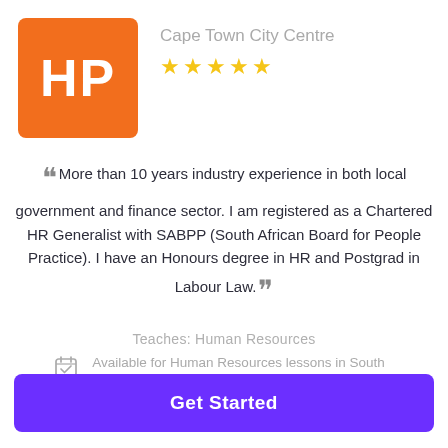[Figure (logo): Orange square avatar with white letters HP]
Cape Town City Centre
[Figure (other): Five gold star rating]
More than 10 years industry experience in both local government and finance sector. I am registered as a Chartered HR Generalist with SABPP (South African Board for People Practice). I have an Honours degree in HR and Postgrad in Labour Law.
Teaches: Human Resources
Available for Human Resources lessons in South Africa
Get Started